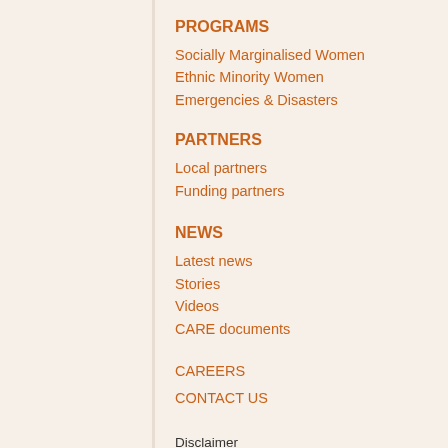PROGRAMS
Socially Marginalised Women
Ethnic Minority Women
Emergencies & Disasters
PARTNERS
Local partners
Funding partners
NEWS
Latest news
Stories
Videos
CARE documents
CAREERS
CONTACT US
Disclaimer
CARE is an international development [image] tion fighting